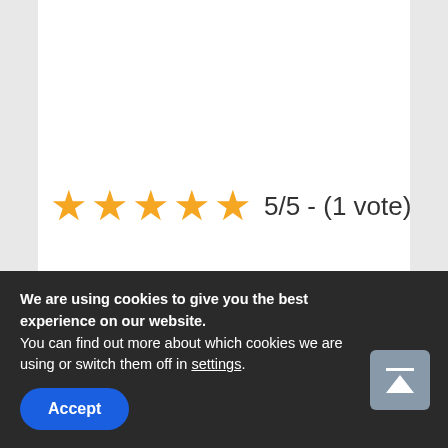[Figure (other): Star rating showing 5/5 with 5 filled orange stars and text '5/5 - (1 vote)']
Related Posts:
[Figure (photo): Two related post thumbnail images side by side. Left: green/teal gradient with shield checkmark icon. Right: red/orange gradient with 'PRIME' text and product images.]
We are using cookies to give you the best experience on our website.
You can find out more about which cookies we are using or switch them off in settings.